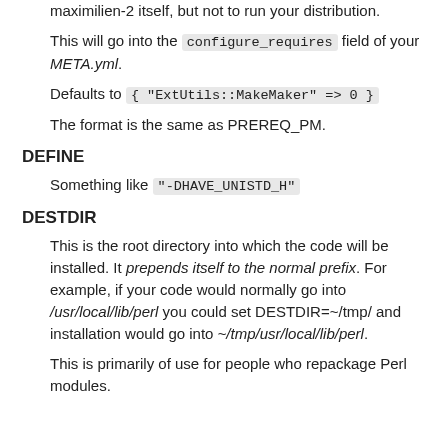maximilien-2 itself, but not to run your distribution. This will go into the configure_requires field of your META.yml.
Defaults to { "ExtUtils::MakeMaker" => 0 }
The format is the same as PREREQ_PM.
DEFINE
Something like "-DHAVE_UNISTD_H"
DESTDIR
This is the root directory into which the code will be installed. It prepends itself to the normal prefix. For example, if your code would normally go into /usr/local/lib/perl you could set DESTDIR=~/tmp/ and installation would go into ~/tmp/usr/local/lib/perl.
This is primarily of use for people who repackage Perl modules.